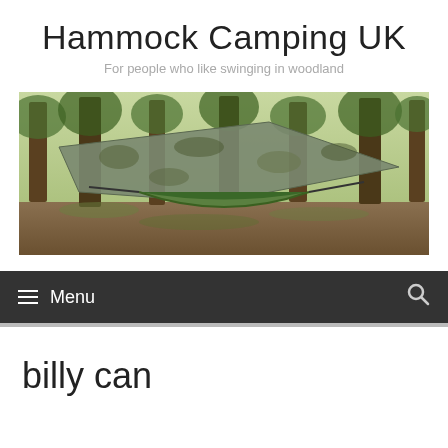Hammock Camping UK
For people who like swinging in woodland
[Figure (photo): A camo tarp shelter set up over a green hammock between trees in a woodland setting]
≡ Menu
billy can